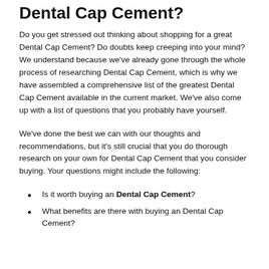Dental Cap Cement?
Do you get stressed out thinking about shopping for a great Dental Cap Cement? Do doubts keep creeping into your mind? We understand because we've already gone through the whole process of researching Dental Cap Cement, which is why we have assembled a comprehensive list of the greatest Dental Cap Cement available in the current market. We've also come up with a list of questions that you probably have yourself.
We've done the best we can with our thoughts and recommendations, but it's still crucial that you do thorough research on your own for Dental Cap Cement that you consider buying. Your questions might include the following:
Is it worth buying an Dental Cap Cement?
What benefits are there with buying an Dental Cap Cement?